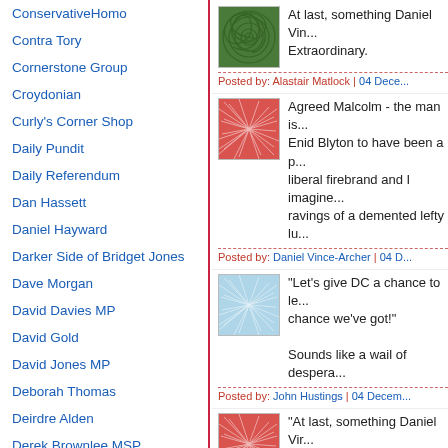ConservativeHomo
Contra Tory
Cornerstone Group
Croydonian
Curly's Corner Shop
Daily Pundit
Daily Referendum
Dan Hassett
Daniel Hayward
Darker Side of Bridget Jones
Dave Morgan
David Davies MP
David Gold
David Jones MP
Deborah Thomas
Deirdre Alden
Derek Brownlee MSP
Disinterring Bad News
[Figure (illustration): Green spiral/swirl pattern avatar]
At last, something Daniel Vin... Extraordinary.
Posted by: Alastair Matlock | 04 Dece...
[Figure (illustration): Red cracked/mosaic pattern avatar]
Agreed Malcolm - the man is... Enid Blyton to have been a p... liberal firebrand and I imagine... ravings of a demented lefty lu...
Posted by: Daniel Vince-Archer | 04 D...
[Figure (illustration): Light blue cracked/mosaic pattern avatar]
"Let's give DC a chance to le... chance we've got!"
Sounds like a wail of despera...
Posted by: John Hustings | 04 Decem...
[Figure (illustration): Red cracked/mosaic pattern avatar]
"At last, something Daniel Vir... Extraordinary."
Stranger things have happen...